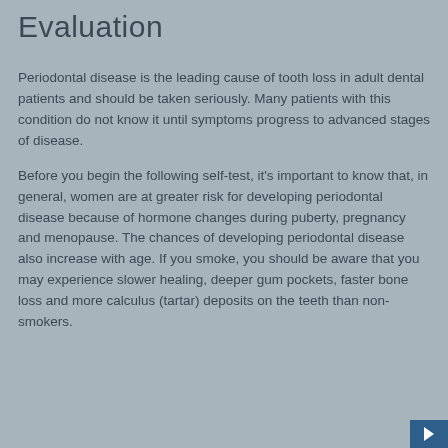Evaluation
Periodontal disease is the leading cause of tooth loss in adult dental patients and should be taken seriously. Many patients with this condition do not know it until symptoms progress to advanced stages of disease.
Before you begin the following self-test, it's important to know that, in general, women are at greater risk for developing periodontal disease because of hormone changes during puberty, pregnancy and menopause. The chances of developing periodontal disease also increase with age. If you smoke, you should be aware that you may experience slower healing, deeper gum pockets, faster bone loss and more calculus (tartar) deposits on the teeth than non-smokers.